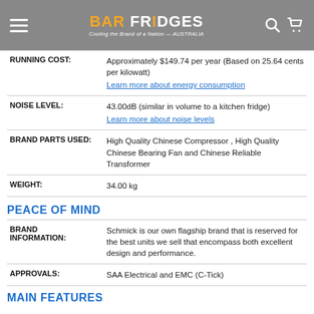BAR FRIDGES
| Label | Value |
| --- | --- |
| RUNNING COST: | Approximately $149.74 per year (Based on 25.64 cents per kilowatt)
Learn more about energy consumption |
| NOISE LEVEL: | 43.00dB (similar in volume to a kitchen fridge)
Learn more about noise levels |
| BRAND PARTS USED: | High Quality Chinese Compressor , High Quality Chinese Bearing Fan and Chinese Reliable Transformer |
| WEIGHT: | 34.00 kg |
PEACE OF MIND
| Label | Value |
| --- | --- |
| BRAND INFORMATION: | Schmick is our own flagship brand that is reserved for the best units we sell that encompass both excellent design and performance. |
| APPROVALS: | SAA Electrical and EMC (C-Tick) |
MAIN FEATURES